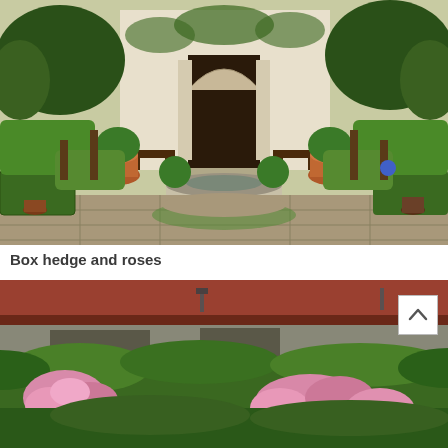[Figure (photo): Formal garden courtyard with a circular stone fountain in the center, surrounded by trimmed box hedges, terracotta pots with plants, benches, and a grand arched doorway entrance to a building in the background.]
Box hedge and roses
[Figure (photo): A low building with a terracotta-red roof visible above lush green shrubs and pink roses blooming in the foreground. A scroll-to-top button overlay is visible in the upper right of the image.]